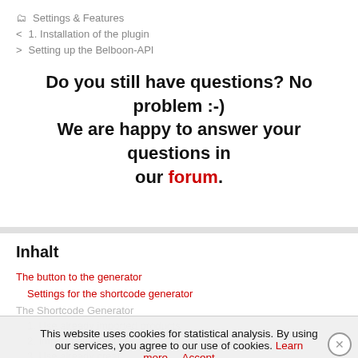Settings & Features
1. Installation of the plugin
Setting up the Belboon-API
Do you still have questions? No problem :-) We are happy to answer your questions in our forum.
Inhalt
The button to the generator
Settings for the shortcode generator
The Shortcode Generator
1. Use already imported products
2. Import new products
3. Use already creat...
This website uses cookies for statistical analysis. By using our services, you agree to our use of cookies. Learn more Accept